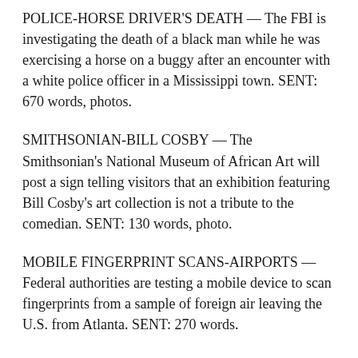POLICE-HORSE DRIVER'S DEATH — The FBI is investigating the death of a black man while he was exercising a horse on a buggy after an encounter with a white police officer in a Mississippi town. SENT: 670 words, photos.
SMITHSONIAN-BILL COSBY — The Smithsonian's National Museum of African Art will post a sign telling visitors that an exhibition featuring Bill Cosby's art collection is not a tribute to the comedian. SENT: 130 words, photo.
MOBILE FINGERPRINT SCANS-AIRPORTS — Federal authorities are testing a mobile device to scan fingerprints from a sample of foreign air leaving the U.S. from Atlanta. SENT: 270 words.